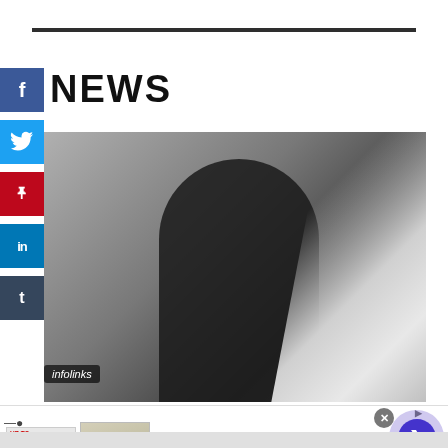[Figure (other): Horizontal dark rule / divider line near top of page]
[Figure (other): Vertical social media sharing sidebar with Facebook, Twitter, Pinterest, LinkedIn, Tumblr buttons]
NEWS
[Figure (photo): Photograph of a tattooed man in black clothing, arms raised, covering face, against a grey/white geometric background with diagonal light beam]
infolinks
[Figure (other): Advertisement banner: Belk.com - Belk® - Official Site. Shop for clothing, handbags, jewelry, beauty, home & more! www.belk.com. Includes small product thumbnail and purple navigation arrow button. Close X button visible.]